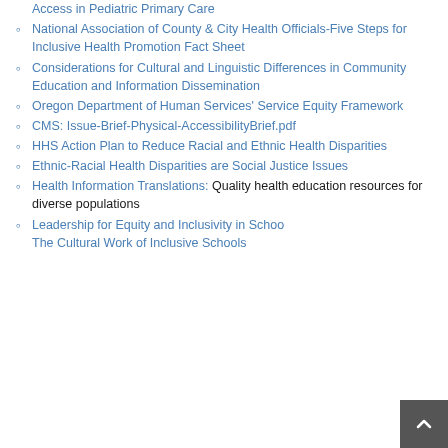Implementation and National Center for Cultural Competence: Language Access in Pediatric Primary Care
National Association of County & City Health Officials-Five Steps for Inclusive Health Promotion Fact Sheet
Considerations for Cultural and Linguistic Differences in Community Education and Information Dissemination
Oregon Department of Human Services' Service Equity Framework
CMS: Issue-Brief-Physical-AccessibilityBrief.pdf
HHS Action Plan to Reduce Racial and Ethnic Health Disparities
Ethnic-Racial Health Disparities are Social Justice Issues
Health Information Translations: Quality health education resources for diverse populations
Leadership for Equity and Inclusivity in Schools: The Cultural Work of Inclusive Schools